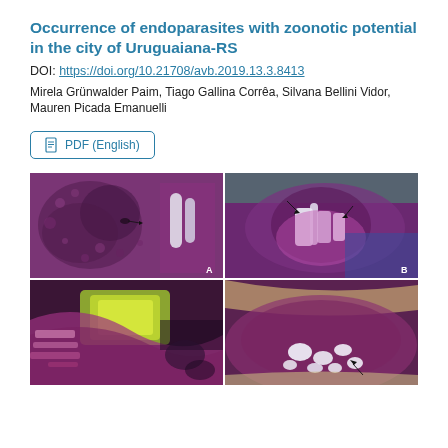Occurrence of endoparasites with zoonotic potential in the city of Uruguaiana-RS
DOI: https://doi.org/10.21708/avb.2019.13.3.8413
Mirela Grünwalder Paim, Tiago Gallina Corrêa, Silvana Bellini Vidor, Mauren Picada Emanuelli
PDF (English)
[Figure (photo): Four histological microscopy images (A, B, C, D) arranged in a 2x2 grid showing tissue sections with parasites, stained purple/pink (H&E staining). Image A shows hepatic tissue with parasite cysts. Image B shows skin/tissue with parasite structures and black arrows. Images C and D show intestinal cross-sections with parasite larvae in green/yellow coloration.]